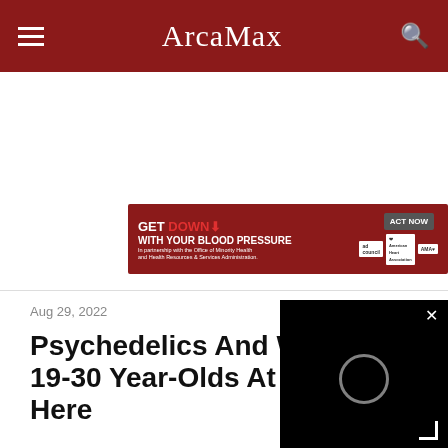ArcaMax
[Figure (infographic): Red advertisement banner: GET DOWN WITH YOUR BLOOD PRESSURE, ACT NOW button, ad council, American Heart Association, and AMA logos]
Aug 29, 2022
Psychedelics And W... 19-30 Year-Olds At A... Here
[Figure (screenshot): Black video player overlay with close (×) button and loading circle spinner in center]